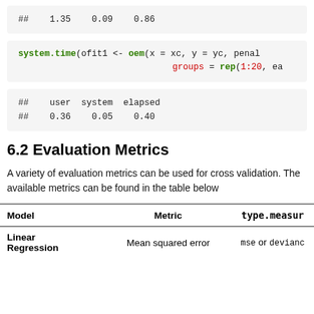##    1.35    0.09    0.86
system.time(ofit1 <- oem(x = xc, y = yc, penal
                              groups = rep(1:20, ea
##    user  system  elapsed
##    0.36    0.05    0.40
6.2 Evaluation Metrics
A variety of evaluation metrics can be used for cross validation. The available metrics can be found in the table below
| Model | Metric | type.measure |
| --- | --- | --- |
| Linear Regression | Mean squared error | mse or devianc |